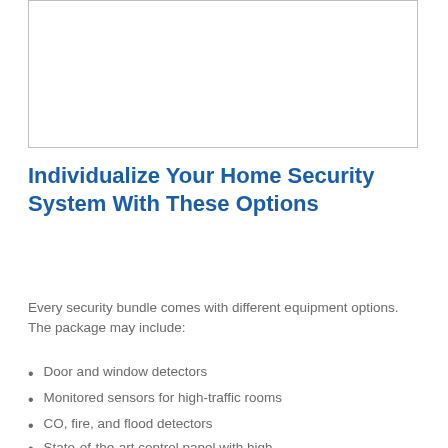[Figure (other): Blank white image placeholder box with light gray border]
Individualize Your Home Security System With These Options
Every security bundle comes with different equipment options. The package may include:
Door and window detectors
Monitored sensors for high-traffic rooms
CO, fire, and flood detectors
State-of-the-art control panel with high